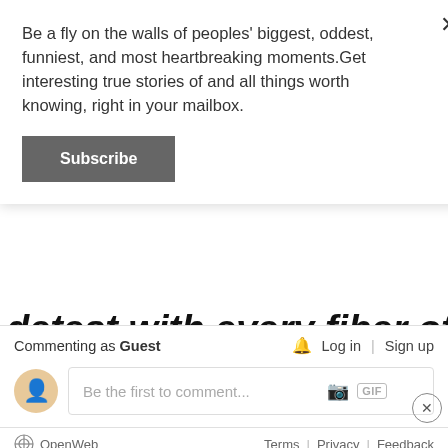Be a fly on the walls of peoples' biggest, oddest, funniest, and most heartbreaking moments.Get interesting true stories of and all things worth knowing, right in your mailbox.
Subscribe
detest with every fiber of your being?
Commenting as Guest
Log in | Sign up
Be the first to comment...
OpenWeb   Terms | Privacy | Feedback
[Figure (screenshot): Advertisement banner with text: If we aren't fighting online hate, then who are the real trolls?]